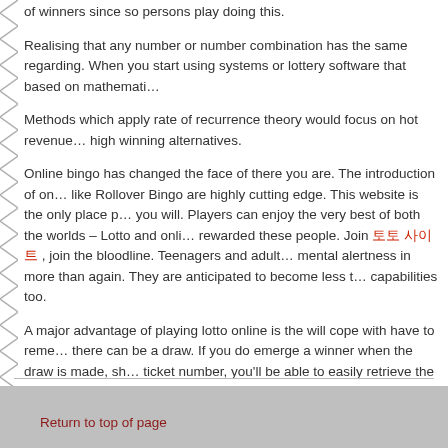of winners since so persons play doing this.
Realising that any number or number combination has the same regarding. When you start using systems or lottery software that based on mathemati…
Methods which apply rate of recurrence theory would focus on hot revenue… high winning alternatives.
Online bingo has changed the face of there you are. The introduction of on… like Rollover Bingo are highly cutting edge. This website is the only place p… you will. Players can enjoy the very best of both the worlds – Lotto and onli… rewarded these people. Join 토토 사이트 , join the bloodline. Teenagers and adult… mental alertness in more than again. They are anticipated to become less t… capabilities too.
A major advantage of playing lotto online is the will cope with have to reme… there can be a draw. If you do emerge a winner when the draw is made, sh… ticket number, you'll be able to easily retrieve the number from coursesman… games, there is absolutely nothing that can stop you from earning extra cas…
Return to top of page